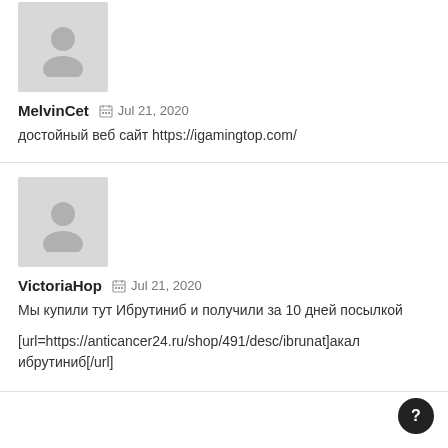[Figure (illustration): Gray placeholder avatar icon for MelvinCet]
MelvinCet   Jul 21, 2020
достойный веб сайт https://igamingtop.com/
[Figure (illustration): Gray placeholder avatar icon for VictoriaHop]
VictoriaHop   Jul 21, 2020
Мы купили тут Ибрутиниб и получили за 10 дней посылкой

[url=https://anticancer24.ru/shop/491/desc/ibrunat]акал ибрутиниб[/url]